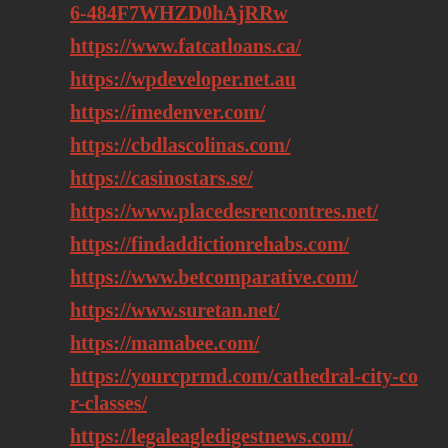6-484F7WHZD0hAjRRw
https://www.fatcatloans.ca/
https://wpdeveloper.net.au
https://imedenver.com/
https://cbdlascolinas.com/
https://casinostars.se/
https://www.placedesrencontres.net/
https://findaddictionrehabs.com/
https://www.betcomparative.com/
https://www.suretan.net/
https://mamabee.com/
https://yourcprmd.com/cathedral-city-cor-classes/
https://legaleagledigestnews.com/
https://swissbotanic.eu/
https://www.scootmobielplatform.nl/